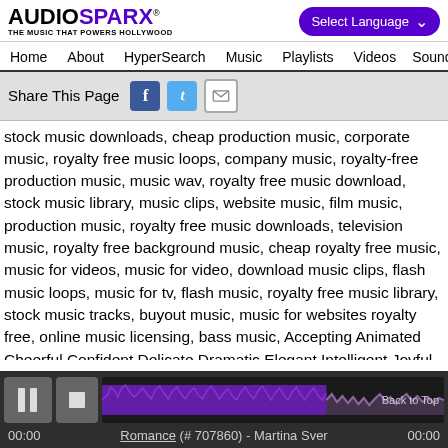AUDIOSPARX® THE MUSIC THAT POWERS HOLLYWOOD — Select Language
Home   About   HyperSearch   Music   Playlists   Videos   Sound
Share This Page
stock music downloads, cheap production music, corporate music, royalty free music loops, company music, royalty-free production music, music wav, royalty free music download, stock music library, music clips, website music, film music, production music, royalty free music downloads, television music, royalty free background music, cheap royalty free music, music for videos, music for video, download music clips, flash music loops, music for tv, flash music, royalty free music library, stock music tracks, buyout music, music for websites royalty free, online music licensing, bass music, Accepting Animated Cheerful Confident Delicate Dramatic Elegant Intelligent Joyful Light Noble
[Figure (other): Audio player bar with pause and stop buttons, waveform visualization in purple, Back to Top link. Track: Romance (#707860) - Martina Sver. Time 00:00 / 00:00.]